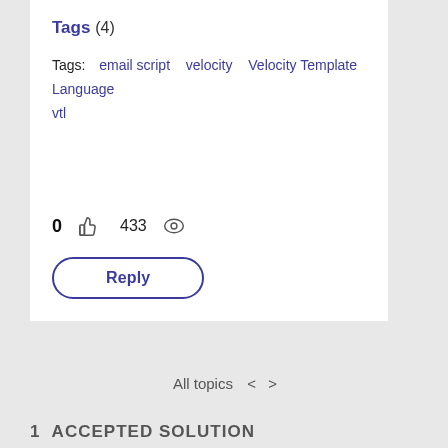Tags (4)
Tags:  email script  velocity  Velocity Template Language  vtl
0  433
Reply
All topics  <  >
1 ACCEPTED SOLUTION